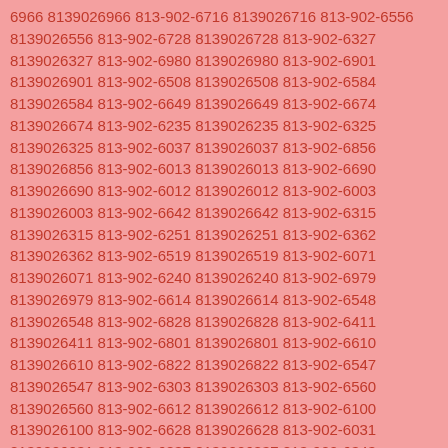6966 8139026966 813-902-6716 8139026716 813-902-6556 8139026556 813-902-6728 8139026728 813-902-6327 8139026327 813-902-6980 8139026980 813-902-6901 8139026901 813-902-6508 8139026508 813-902-6584 8139026584 813-902-6649 8139026649 813-902-6674 8139026674 813-902-6235 8139026235 813-902-6325 8139026325 813-902-6037 8139026037 813-902-6856 8139026856 813-902-6013 8139026013 813-902-6690 8139026690 813-902-6012 8139026012 813-902-6003 8139026003 813-902-6642 8139026642 813-902-6315 8139026315 813-902-6251 8139026251 813-902-6362 8139026362 813-902-6519 8139026519 813-902-6071 8139026071 813-902-6240 8139026240 813-902-6979 8139026979 813-902-6614 8139026614 813-902-6548 8139026548 813-902-6828 8139026828 813-902-6411 8139026411 813-902-6801 8139026801 813-902-6610 8139026610 813-902-6822 8139026822 813-902-6547 8139026547 813-902-6303 8139026303 813-902-6560 8139026560 813-902-6612 8139026612 813-902-6100 8139026100 813-902-6628 8139026628 813-902-6031 8139026031 813-902-6837 8139026837 813-902-6343 8139026343 813-902-6124 8139026124 813-902-6106 8139026106 813-902-6784 8139026784 813-902-6620 8139026620 813-902-6880 8139026880 813-902-6290 8139026290 813-902-6321 8139026321 813-902-6122 8139026122 813-902-6882 8139026882 813-902-6057 8139026057 813-902-6729 8139026729 813-902-6788 8139026788 813-902-6662 8139026662 813-902-6160 8139026160 813-902-6537 8139026537 813-902-6986 8139026986 813-902-6443 8139026443 813-902-6718 8139026718 813-902-6518 8139026518 813-902-6420 8139026420 813-902-